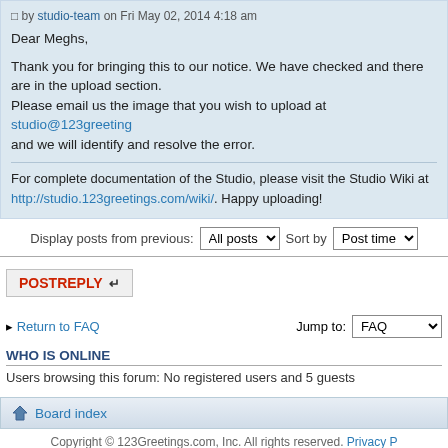by studio-team on Fri May 02, 2014 4:18 am
Dear Meghs,

Thank you for bringing this to our notice. We have checked and there are in the upload section.
Please email us the image that you wish to upload at studio@123greetings and we will identify and resolve the error.
For complete documentation of the Studio, please visit the Studio Wiki at http://studio.123greetings.com/wiki/. Happy uploading!
Display posts from previous: All posts  Sort by  Post time
POSTREPLY
Return to FAQ  Jump to: FAQ
WHO IS ONLINE
Users browsing this forum: No registered users and 5 guests
Board index
Copyright © 123Greetings.com, Inc. All rights reserved. Privacy P